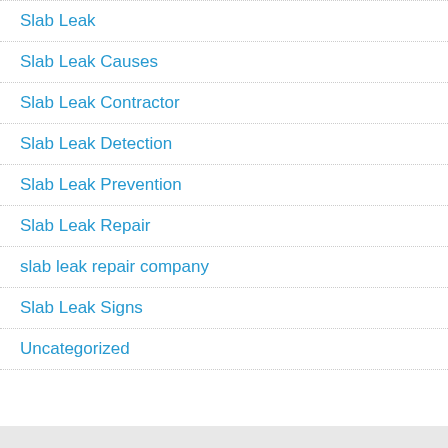Slab Leak
Slab Leak Causes
Slab Leak Contractor
Slab Leak Detection
Slab Leak Prevention
Slab Leak Repair
slab leak repair company
Slab Leak Signs
Uncategorized